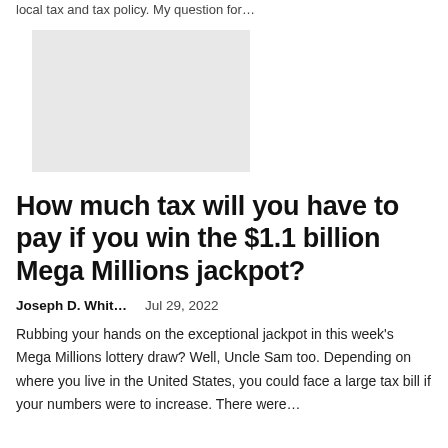local tax and tax policy. My question for…
[Figure (photo): A light gray placeholder image rectangle]
How much tax will you have to pay if you win the $1.1 billion Mega Millions jackpot?
Joseph D. Whit…    Jul 29, 2022
Rubbing your hands on the exceptional jackpot in this week's Mega Millions lottery draw? Well, Uncle Sam too. Depending on where you live in the United States, you could face a large tax bill if your numbers were to increase. There were…